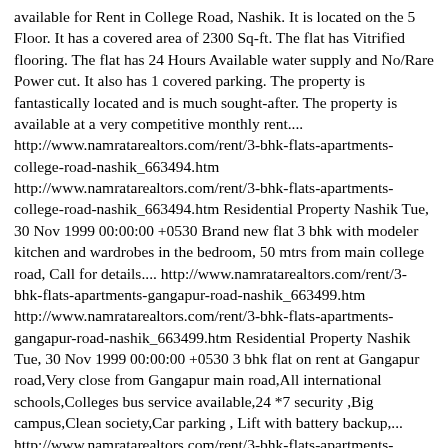available for Rent in College Road, Nashik. It is located on the 5 Floor. It has a covered area of 2300 Sq-ft. The flat has Vitrified flooring. The flat has 24 Hours Available water supply and No/Rare Power cut. It also has 1 covered parking. The property is fantastically located and is much sought-after. The property is available at a very competitive monthly rent.... http://www.namratarealtors.com/rent/3-bhk-flats-apartments-college-road-nashik_663494.htm http://www.namratarealtors.com/rent/3-bhk-flats-apartments-college-road-nashik_663494.htm Residential Property Nashik Tue, 30 Nov 1999 00:00:00 +0530 Brand new flat 3 bhk with modeler kitchen and wardrobes in the bedroom, 50 mtrs from main college road, Call for details.... http://www.namratarealtors.com/rent/3-bhk-flats-apartments-gangapur-road-nashik_663499.htm http://www.namratarealtors.com/rent/3-bhk-flats-apartments-gangapur-road-nashik_663499.htm Residential Property Nashik Tue, 30 Nov 1999 00:00:00 +0530 3 bhk flat on rent at Gangapur road,Very close from Gangapur main road,All international schools,Colleges bus service available,24 *7 security ,Big campus,Clean society,Car parking , Lift with battery backup,... http://www.namratarealtors.com/rent/3-bhk-flats-apartments-gangapur-road-nashik_663505.htm http://www.namratarealtors.com/rent/3-bhk-flats-apartments-gangapur-road-nashik_663505.htm Residential Property Nashik Tue, 30 Nov 1999 00:00:00 +0530 3 bhk with fully furnished flat for from... Mumbhai window, large screen and Multi the Call for...